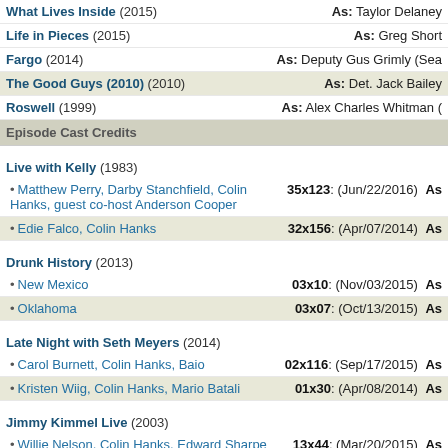What Lives Inside (2015) — As: Taylor Delaney
Life in Pieces (2015) — As: Greg Short
Fargo (2014) — As: Deputy Gus Grimly (Sea…)
The Good Guys (2010) (2010) — As: Det. Jack Bailey
Roswell (1999) — As: Alex Charles Whitman (…)
Episode Cast Credits
Live with Kelly (1983)
• Matthew Perry, Darby Stanchfield, Colin Hanks, guest co-host Anderson Cooper — 35x123: (Jun/22/2016) As
• Edie Falco, Colin Hanks — 32x156: (Apr/07/2014) As
Drunk History (2013)
• New Mexico — 03x10: (Nov/03/2015) As
• Oklahoma — 03x07: (Oct/13/2015) As
Late Night with Seth Meyers (2014)
• Carol Burnett, Colin Hanks, Baio — 02x116: (Sep/17/2015) As
• Kristen Wiig, Colin Hanks, Mario Batali — 01x30: (Apr/08/2014) As
Jimmy Kimmel Live (2003)
• Willie Nelson, Colin Hanks, Edward Sharpe and the Magnetic Zeros — 13x44: (Mar/20/2015) As
Mom (2013)
• Godzilla and a Sprig of Mint — 02x09: (Jan/08/2015) As
Bad Teacher (2014)